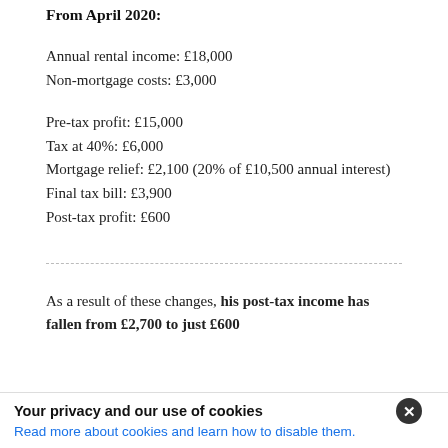From April 2020:
Annual rental income: £18,000
Non-mortgage costs: £3,000
Pre-tax profit: £15,000
Tax at 40%: £6,000
Mortgage relief: £2,100 (20% of £10,500 annual interest)
Final tax bill: £3,900
Post-tax profit: £600
As a result of these changes, his post-tax income has fallen from £2,700 to just £600
Your privacy and our use of cookies
Read more about cookies and learn how to disable them.